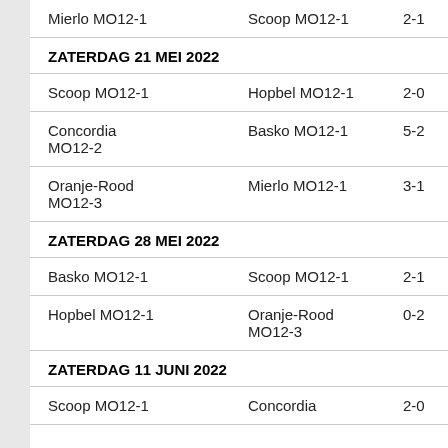Mierlo MO12-1   Scoop MO12-1   2-1
ZATERDAG 21 MEI 2022
Scoop MO12-1   Hopbel MO12-1   2-0
Concordia MO12-2   Basko MO12-1   5-2
Oranje-Rood MO12-3   Mierlo MO12-1   3-1
ZATERDAG 28 MEI 2022
Basko MO12-1   Scoop MO12-1   2-1
Hopbel MO12-1   Oranje-Rood MO12-3   0-2
ZATERDAG 11 JUNI 2022
Scoop MO12-1   Concordia   2-0